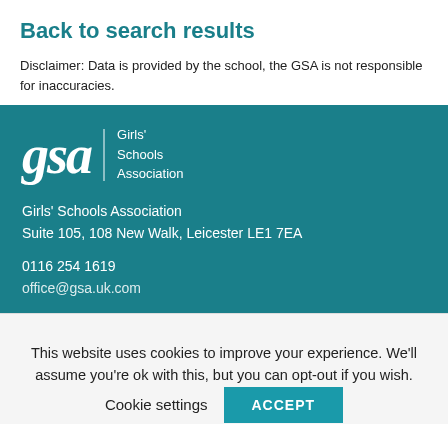Back to search results
Disclaimer: Data is provided by the school, the GSA is not responsible for inaccuracies.
[Figure (logo): Girls' Schools Association logo: 'gsa' in large italic serif font with a vertical divider and text 'Girls' Schools Association']
Girls' Schools Association
Suite 105, 108 New Walk, Leicester LE1 7EA
0116 254 1619
office@gsa.uk.com
This website uses cookies to improve your experience. We'll assume you're ok with this, but you can opt-out if you wish.
Cookie settings  ACCEPT